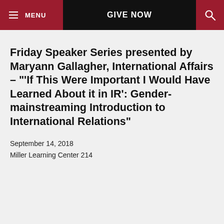MENU   GIVE NOW   [search]
Friday Speaker Series presented by Maryann Gallagher, International Affairs – "'If This Were Important I Would Have Learned About it in IR': Gender-mainstreaming Introduction to International Relations"
September 14, 2018
Miller Learning Center 214